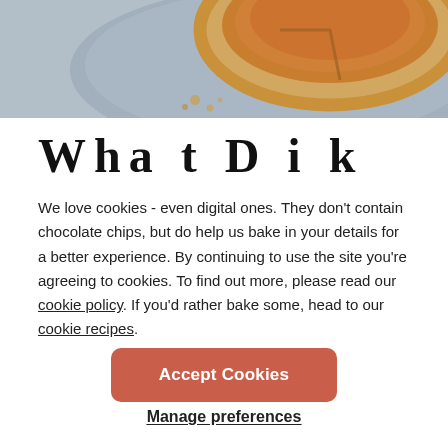[Figure (photo): Top portion of a baked tart/pie on a plate, photographed from above on a grey surface.]
Wha t Pik...
We love cookies - even digital ones. They don’t contain chocolate chips, but do help us bake in your details for a better experience. By continuing to use the site you’re agreeing to cookies. To find out more, please read our cookie policy. If you’d rather bake some, head to our cookie recipes.
Accept Cookies
Manage preferences